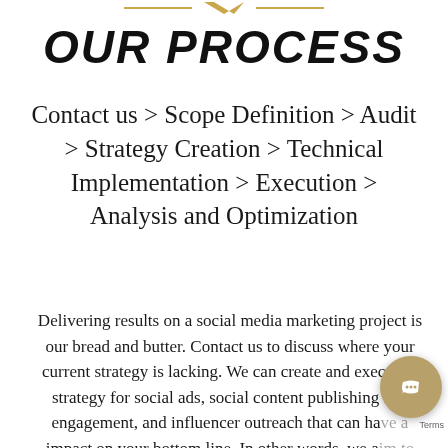OUR PROCESS
Contact us > Scope Definition > Audit > Strategy Creation > Technical Implementation > Execution > Analysis and Optimization
Delivering results on a social media marketing project is our bread and butter. Contact us to discuss where your current strategy is lacking. We can create and execute a strategy for social ads, social content publishing and engagement, and influencer outreach that can have an impact on your bottom line. In other words, we aim to increase your business and not just your social audience.